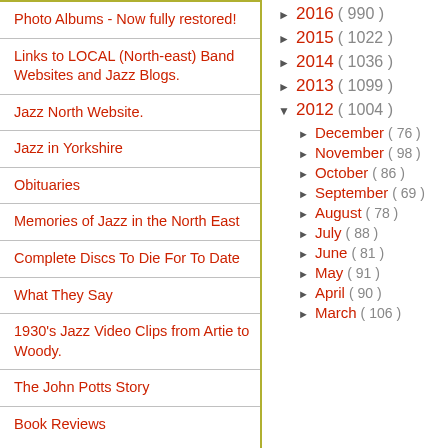Photo Albums - Now fully restored!
Links to LOCAL (North-east) Band Websites and Jazz Blogs.
Jazz North Website.
Jazz in Yorkshire
Obituaries
Memories of Jazz in the North East
Complete Discs To Die For To Date
What They Say
1930's Jazz Video Clips from Artie to Woody.
The John Potts Story
Book Reviews
2016 ( 990 )
2015 ( 1022 )
2014 ( 1036 )
2013 ( 1099 )
2012 ( 1004 )
December ( 76 )
November ( 98 )
October ( 86 )
September ( 69 )
August ( 78 )
July ( 88 )
June ( 81 )
May ( 91 )
April ( 90 )
March ( 106 )